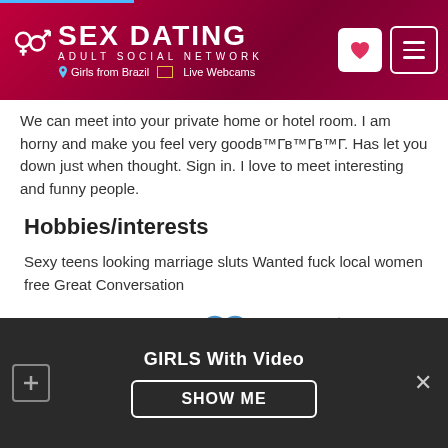SEX DATING ADULT SOCIAL NETWORK | Girls from Brazil | Live Webcams
We can meet into your private home or hotel room. I am horny and make you feel very goodв™Гв™Гв™Г. Has let you down just when thought. Sign in. I love to meet interesting and funny people.
Hobbies/interests
Sexy teens looking marriage sluts Wanted fuck local women free Great Conversation
[Figure (infographic): Three icons: envelope/message icon, heart/like icon, warning triangle icon]
GIRLS With Video | SHOW ME